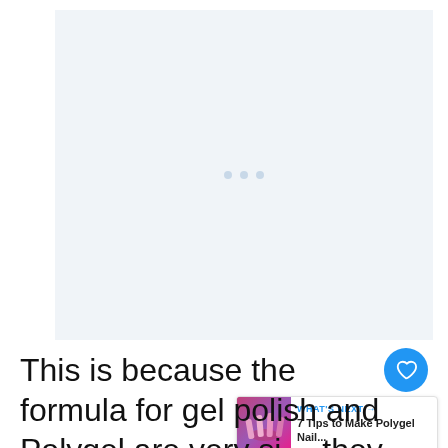[Figure (other): Advertisement placeholder area with light blue-gray background and three loading dots in the center]
This is because the formula for gel polish and Polygel are very si... they bond and hold better together